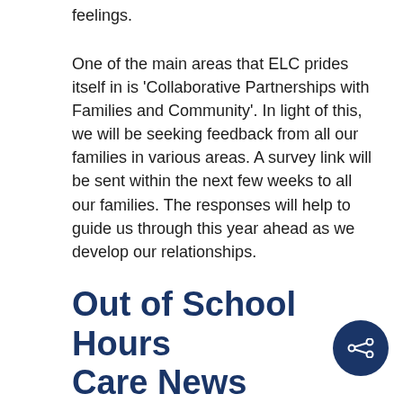feelings.
One of the main areas that ELC prides itself in is 'Collaborative Partnerships with Families and Community'. In light of this, we will be seeking feedback from all our families in various areas. A survey link will be sent within the next few weeks to all our families. The responses will help to guide us through this year ahead as we develop our relationships.
Out of School Hours Care News